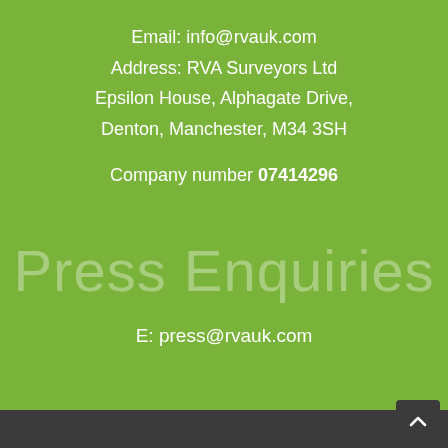Email: info@rvauk.com
Address: RVA Surveyors Ltd
Epsilon House, Alphagate Drive,
Denton, Manchester, M34 3SH
Company number 07414296
Press Enquiries
E: press@rvauk.com